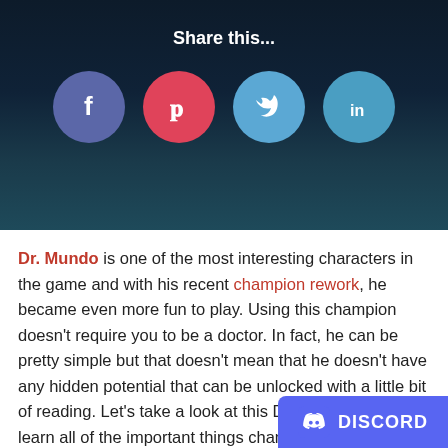Share this...
[Figure (infographic): Four social media share buttons arranged horizontally: Facebook (dark blue), Pinterest (red/pink), Twitter (light blue), LinkedIn (light blue). White icons centered in circular buttons.]
Dr. Mundo is one of the most interesting characters in the game and with his recent champion rework, he became even more fun to play. Using this champion doesn't require you to be a doctor. In fact, he can be pretty simple but that doesn't mean that he doesn't have any hidden potential that can be unlocked with a little bit of reading. Let's take a look at this Dr. Mundo guide to learn all of the important things champion does in the game that you nee
[Figure (logo): Discord badge in bottom right corner with Discord logo icon and text DISCORD in white on purple/indigo background.]